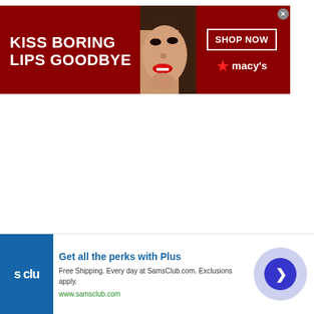[Figure (screenshot): Macy's banner advertisement with dark red background. Left side shows bold white text 'KISS BORING LIPS GOODBYE'. Center shows a close-up photo of a woman's face with red lips. Right side shows 'SHOP NOW' button in white box and Macy's star logo with text. An X close button is visible.]
[Figure (screenshot): Sam's Club advertisement at the bottom. Blue square logo with 's clu' visible text on left. Text reads 'Get all the perks with Plus' in blue. Description: 'Free Shipping. Every day at SamsClub.com. Exclusions apply.' URL: www.samsclub.com. A circular button with right-arrow on the right side. AdChoices icon visible.]